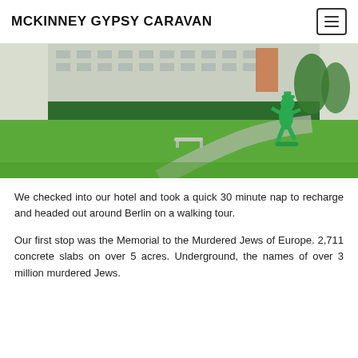MCKINNEY GYPSY CARAVAN
[Figure (photo): Outdoor scene with a green lawn, hedge, concrete path, building in background, and a green statue of a running figure on the right side.]
We checked into our hotel and took a quick 30 minute nap to recharge and headed out around Berlin on a walking tour.
Our first stop was the Memorial to the Murdered Jews of Europe. 2,711 concrete slabs on over 5 acres. Underground, the names of over 3 million murdered Jews.